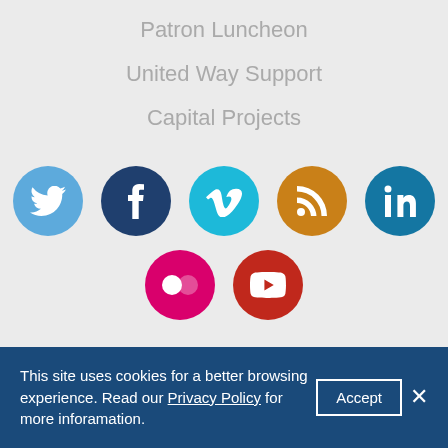Patron Luncheon
United Way Support
Capital Projects
[Figure (infographic): Row of five social media icon circles: Twitter (light blue), Facebook (dark navy), Vimeo (cyan), RSS (orange/gold), LinkedIn (blue). Below, partial row showing Flickr (magenta) and YouTube (red) circles.]
This site uses cookies for a better browsing experience. Read our Privacy Policy for more inforamation.